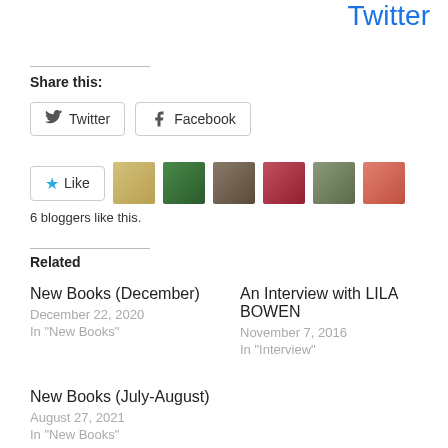Twitter
Share this:
Twitter  Facebook
[Figure (other): Like button with star icon and 6 blogger avatars]
6 bloggers like this.
Related
New Books (December)
December 22, 2020
In "New Books"
An Interview with LILA BOWEN
November 7, 2016
In "Interview"
New Books (July-August)
August 27, 2021
In "New Books"